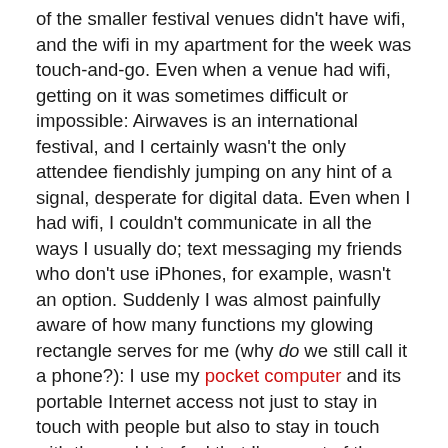of the smaller festival venues didn't have wifi, and the wifi in my apartment for the week was touch-and-go. Even when a venue had wifi, getting on it was sometimes difficult or impossible: Airwaves is an international festival, and I certainly wasn't the only attendee fiendishly jumping on any hint of a signal, desperate for digital data. Even when I had wifi, I couldn't communicate in all the ways I usually do; text messaging my friends who don't use iPhones, for example, wasn't an option. Suddenly I was almost painfully aware of how many functions my glowing rectangle serves for me (why do we still call it a phone?): I use my pocket computer and its portable Internet access not just to stay in touch with people but also to stay in touch with the world, to feel that I'm a part of the world at all. I use it to feel that I have a voice, and can speak, and can be heard, even if only by tracking algorithms and packet switchers that will never respond in any way I can understand. (And don't even get me started about how much I apparently depend on scrolling through Twitter on my phone—read also: alarm clock—in order to wake up in the morning.)